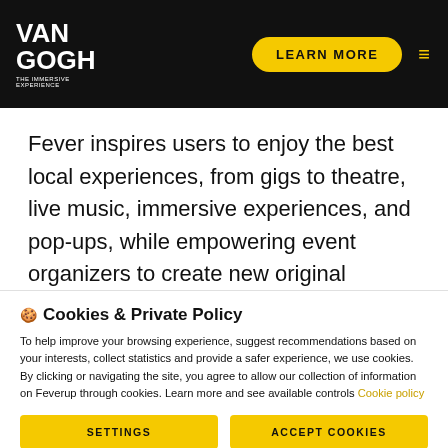VAN GOGH THE IMMERSIVE EXPERIENCE
Fever inspires users to enjoy the best local experiences, from gigs to theatre, live music, immersive experiences, and pop-ups, while empowering event organizers to create new original content.
[Figure (illustration): Partial bottom graphic showing decorative black ellipses/dots against a dark background, partially cropped]
🍪 Cookies & Private Policy
To help improve your browsing experience, suggest recommendations based on your interests, collect statistics and provide a safer experience, we use cookies. By clicking or navigating the site, you agree to allow our collection of information on Feverup through cookies. Learn more and see available controls Cookie policy
SETTINGS | ACCEPT COOKIES